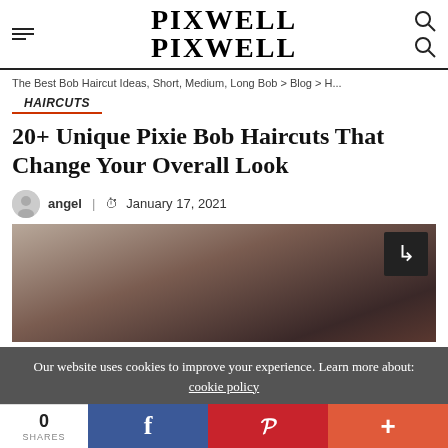PIXWELL PIXWELL
The Best Bob Haircut Ideas, Short, Medium, Long Bob > Blog > H...
HAIRCUTS
20+ Unique Pixie Bob Haircuts That Change Your Overall Look
angel | January 17, 2021
[Figure (photo): Close-up photo of a person's dark brown pixie bob haircut from the back/side]
Our website uses cookies to improve your experience. Learn more about: cookie policy
0 SHARES